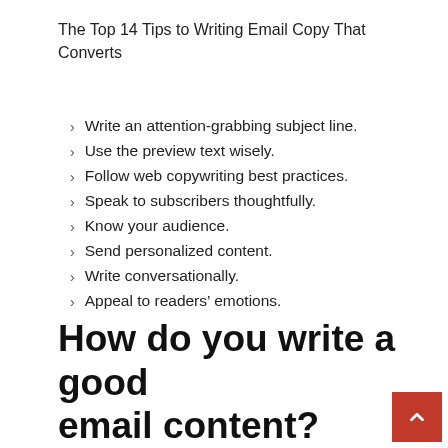The Top 14 Tips to Writing Email Copy That Converts
Write an attention-grabbing subject line.
Use the preview text wisely.
Follow web copywriting best practices.
Speak to subscribers thoughtfully.
Know your audience.
Send personalized content.
Write conversationally.
Appeal to readers’ emotions.
How do you write a good email content?